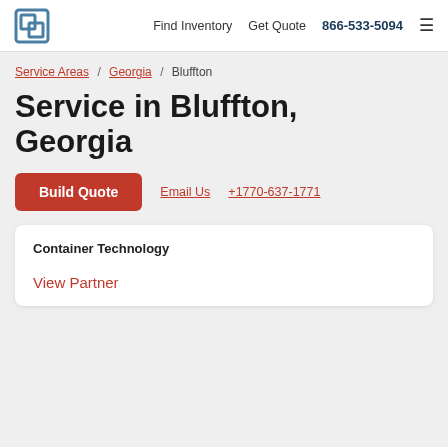Find Inventory   Get Quote   866-533-5094
Service Areas / Georgia / Bluffton
Service in Bluffton, Georgia
Build Quote   Email Us   +1770-637-1771
Container Technology
View Partner